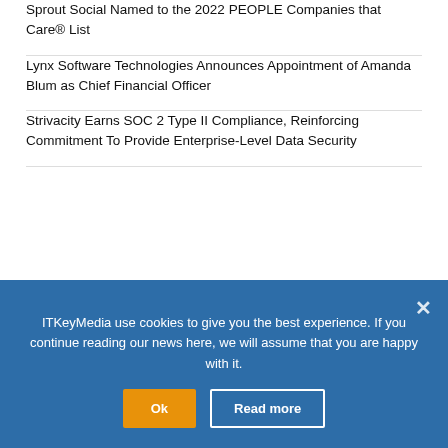Sprout Social Named to the 2022 PEOPLE Companies that Care® List
Lynx Software Technologies Announces Appointment of Amanda Blum as Chief Financial Officer
Strivacity Earns SOC 2 Type II Compliance, Reinforcing Commitment To Provide Enterprise-Level Data Security
ABOUT US
ITKeyMedia use cookies to give you the best experience. If you continue reading our news here, we will assume that you are happy with it.